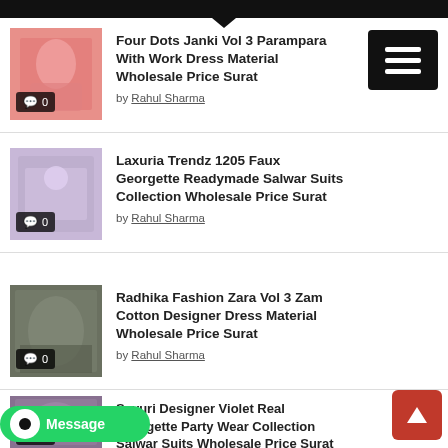[Figure (screenshot): Top black navigation bar with speech bubble arrow]
[Figure (screenshot): Black menu/hamburger button top right]
[Figure (photo): Pink saree dress material thumbnail with comment badge showing 0]
Four Dots Janki Vol 3 Parampara With Work Dress Material Wholesale Price Surat
by Rahul Sharma
[Figure (photo): Lavender georgette salwar suit thumbnail with comment badge showing 0]
Laxuria Trendz 1205 Faux Georgette Readymade Salwar Suits Collection Wholesale Price Surat
by Rahul Sharma
[Figure (photo): Dark zam cotton dress material thumbnail with comment badge showing 0]
Radhika Fashion Zara Vol 3 Zam Cotton Designer Dress Material Wholesale Price Surat
by Rahul Sharma
[Figure (photo): Violet georgette party wear salwar suits thumbnail with comment badge showing 0]
Sayuri Designer Violet Real Georgette Party Wear Collection Salwar Suits Wholesale Price Surat
by Rahul Sharma
[Figure (screenshot): WhatsApp Message button bottom left]
[Figure (screenshot): Scroll to top red button bottom right]